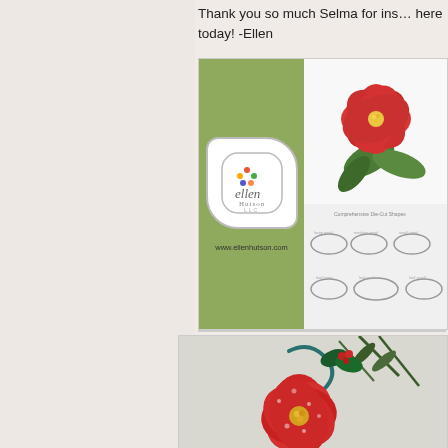Thank you so much Selma for ins… here today! -Ellen
[Figure (illustration): Ellen Hutson LLC advertisement with green sidebar showing logo and www.ellenhutson.com URL, and white right side showing a red poinsettia flower with leaves on top and die cut shapes on bottom]
[Figure (photo): Photo of a handcrafted red poinsettia flower decoration with holly leaves, pine sprigs, and a teal swirl accent, with snow-like texture on petals]